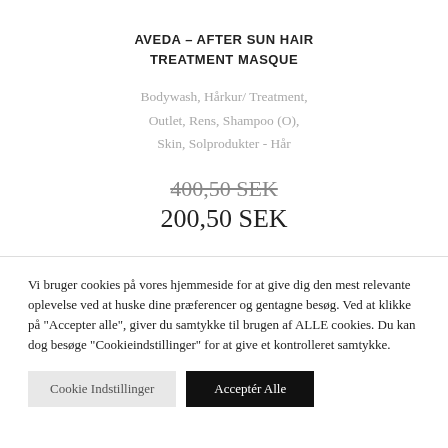AVEDA – AFTER SUN HAIR TREATMENT MASQUE
Bodywash, Hårkur/ Treatment, Outlet, Rens, Shampoo (O), Skin, Solprodukter - Hår
400,50 SEK (strikethrough) 200,50 SEK
Vi bruger cookies på vores hjemmeside for at give dig den mest relevante oplevelse ved at huske dine præferencer og gentagne besøg. Ved at klikke på "Accepter alle", giver du samtykke til brugen af ALLE cookies. Du kan dog besøge "Cookieindstillinger" for at give et kontrolleret samtykke.
Cookie Indstillinger
Acceptér Alle